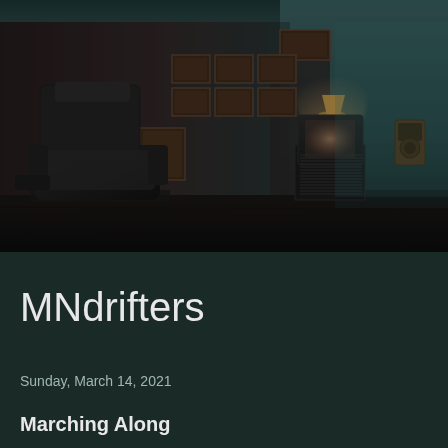[Figure (photo): Dark, moody interior room with a black leather recliner chair on the left, an old CRT television on a stand in the center, a lamp above it, framed pictures covering the back wall, a vintage wall-mounted telephone on the right side, and a dark hardwood floor. The right portion of the room has teal/green-tinted distressed walls.]
MNdrifters
Sunday, March 14, 2021
Marching Along